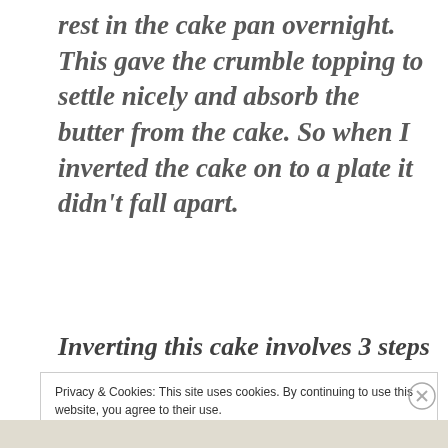rest in the cake pan overnight. This gave the crumble topping to settle nicely and absorb the butter from the cake. So when I inverted the cake on to a plate it didn't fall apart.
Inverting this cake involves 3 steps
Privacy & Cookies: This site uses cookies. By continuing to use this website, you agree to their use.
To find out more, including how to control cookies, see here: Cookie Policy
Close and accept